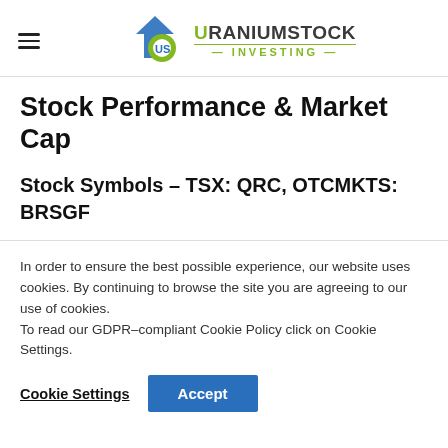Uranium Stock Investing — navigation header with logo
Stock Performance & Market Cap
Stock Symbols – TSX: QRC, OTCMKTS: BRSGF
In order to ensure the best possible experience, our website uses cookies. By continuing to browse the site you are agreeing to our use of cookies.
To read our GDPR-compliant Cookie Policy click on Cookie Settings.
Cookie Settings   Accept